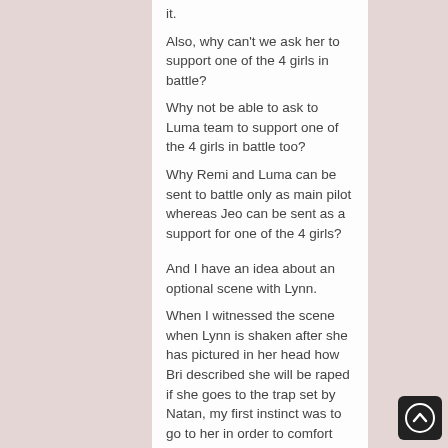it.
Also, why can't we ask her to support one of the 4 girls in battle?
Why not be able to ask to Luma team to support one of the 4 girls in battle too?
Why Remi and Luma can be sent to battle only as main pilot whereas Jeo can be sent as a support for one of the 4 girls?

And I have an idea about an optional scene with Lynn.
When I witnessed the scene when Lynn is shaken after she has pictured in her head how Bri described she will be raped if she goes to the trap set by Natan, my first instinct was to go to her in order to comfort her.
Unfortunately, she just kept saying the same thing that she always say when Jeo talks to her.
So here is my idea for the optional scene with Lynn that I imagined:
If the player has the same instinct that I had,